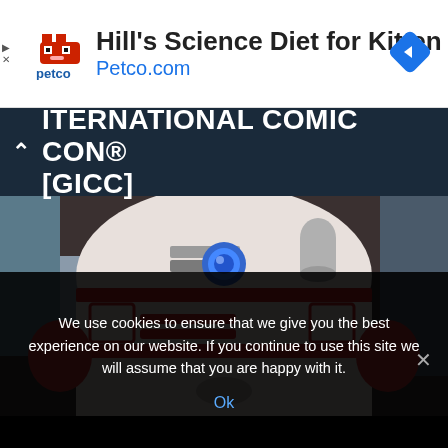[Figure (screenshot): Petco advertisement banner with Hill's Science Diet for Kitten text, Petco logo, Petco.com URL, and a blue navigation diamond icon on the right]
ITERNATIONAL COMIC CON® [GICC]
[Figure (photo): Close-up photo of a red and white R2-D2 style Star Wars astromech droid robot with a blue eye/sensor]
We use cookies to ensure that we give you the best experience on our website. If you continue to use this site we will assume that you are happy with it.
Ok